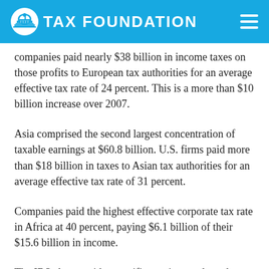TAX FOUNDATION
companies paid nearly $38 billion in income taxes on those profits to European tax authorities for an average effective tax rate of 24 percent. This is a more than $10 billion increase over 2007.
Asia comprised the second largest concentration of taxable earnings at $60.8 billion. U.S. firms paid more than $18 billion in taxes to Asian tax authorities for an average effective tax rate of 31 percent.
Companies paid the highest effective corporate tax rate in Africa at 40 percent, paying $6.1 billion of their $15.6 billion in income.
The IRS also provides specific earnings and tax data for 90 separate countries. Table 2 lists these countries ranked by